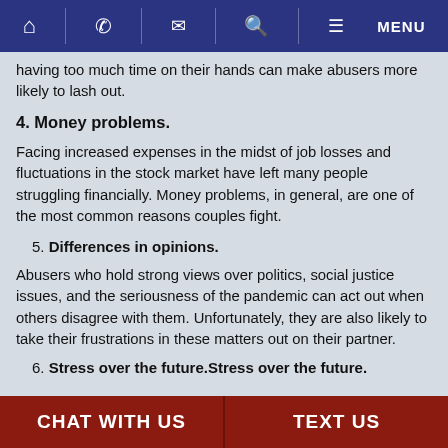Home | Phone | Email | Search | Menu
having too much time on their hands can make abusers more likely to lash out.
4. Money problems.
Facing increased expenses in the midst of job losses and fluctuations in the stock market have left many people struggling financially. Money problems, in general, are one of the most common reasons couples fight.
5. Differences in opinions.
Abusers who hold strong views over politics, social justice issues, and the seriousness of the pandemic can act out when others disagree with them. Unfortunately, they are also likely to take their frustrations in these matters out on their partner.
6. Stress over the future.
CHAT WITH US | TEXT US